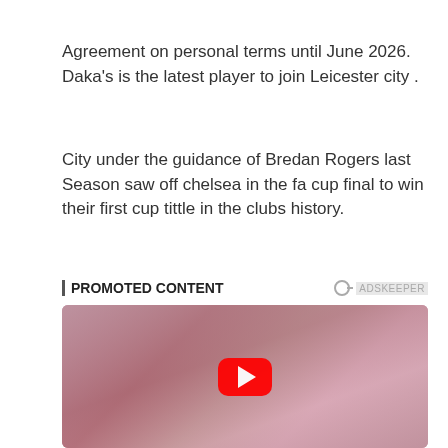Agreement on personal terms until June 2026. Daka's is the latest player to join Leicester city .
City under the guidance of Bredan Rogers last Season saw off chelsea in the fa cup final to win their first cup tittle in the clubs history.
PROMOTED CONTENT
[Figure (photo): Video thumbnail showing a blonde woman in a pink outfit seated on a couch, with a YouTube-style red play button overlaid in the center. Part of a promoted content advertisement.]